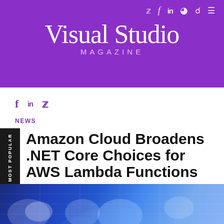Visual Studio MAGAZINE
[Figure (screenshot): Social share icons: Facebook (f), LinkedIn (in), Twitter bird icon]
NEWS
Amazon Cloud Broadens .NET Core Choices for AWS Lambda Functions
By David Ramel  03/20/2019
[Figure (photo): Technology/cloud computing background image with blue tones, cloud shapes and circuit network patterns]